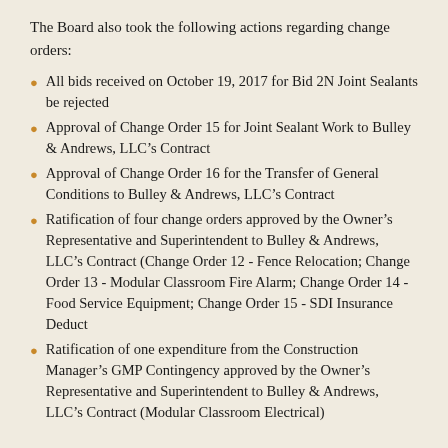The Board also took the following actions regarding change orders:
All bids received on October 19, 2017 for Bid 2N Joint Sealants be rejected
Approval of Change Order 15 for Joint Sealant Work to Bulley & Andrews, LLC’s Contract
Approval of Change Order 16 for the Transfer of General Conditions to Bulley & Andrews, LLC’s Contract
Ratification of four change orders approved by the Owner’s Representative and Superintendent to Bulley & Andrews, LLC’s Contract (Change Order 12 - Fence Relocation; Change Order 13 - Modular Classroom Fire Alarm; Change Order 14 - Food Service Equipment; Change Order 15 - SDI Insurance Deduct
Ratification of one expenditure from the Construction Manager’s GMP Contingency approved by the Owner’s Representative and Superintendent to Bulley & Andrews, LLC’s Contract (Modular Classroom Electrical)